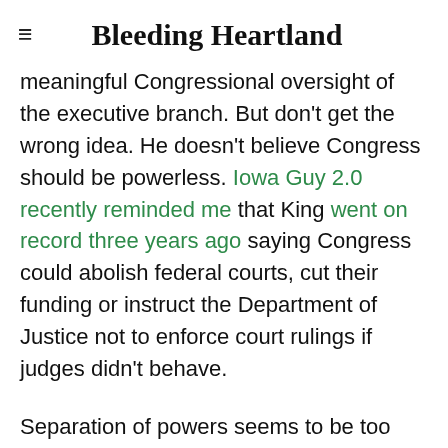Bleeding Heartland
meaningful Congressional oversight of the executive branch. But don't get the wrong idea. He doesn't believe Congress should be powerless. Iowa Guy 2.0 recently reminded me that King went on record three years ago saying Congress could abolish federal courts, cut their funding or instruct the Department of Justice not to enforce court rulings if judges didn't behave.
Separation of powers seems to be too difficult a concept for King to grasp.